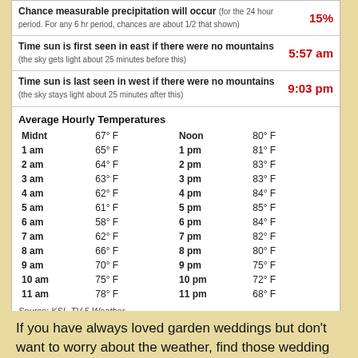Chance measurable precipitation will occur (for the 24 hour period. For any 6 hr period, chances are about 1/2 that shown) — 15%
Time sun is first seen in east if there were no mountains (the sky gets light about 25 minutes before this) — 5:57 am
Time sun is last seen in west if there were no mountains (the sky stays light about 25 minutes after this) — 9:03 pm
Average Hourly Temperatures
| Time | Temp | Time | Temp |
| --- | --- | --- | --- |
| Midnt | 67° F | Noon | 80° F |
| 1 am | 65° F | 1 pm | 81° F |
| 2 am | 64° F | 2 pm | 83° F |
| 3 am | 63° F | 3 pm | 83° F |
| 4 am | 62° F | 4 pm | 84° F |
| 5 am | 61° F | 5 pm | 85° F |
| 6 am | 58° F | 6 pm | 84° F |
| 7 am | 62° F | 7 pm | 82° F |
| 8 am | 66° F | 8 pm | 80° F |
| 9 am | 70° F | 9 pm | 75° F |
| 10 am | 75° F | 10 pm | 72° F |
| 11 am | 78° F | 11 pm | 68° F |
Source: KSL-TV 5 Weather
If you have always loved garden weddings but don't want to worry about the weather, find those wedding